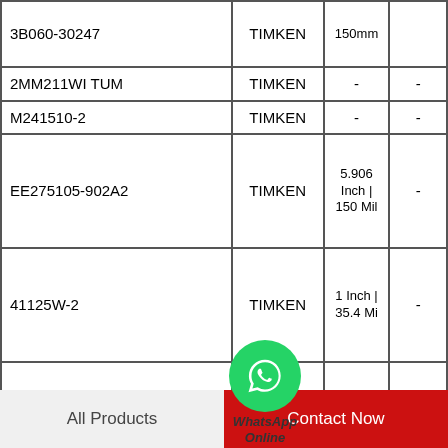| Part Number | Brand | Bore | OD |
| --- | --- | --- | --- |
| 3B060-30247 | TIMKEN | 150mm |  |
| 2MM211WI TUM | TIMKEN | - | - |
| M241510-2 | TIMKEN | - | - |
| EE275105-902A2 | TIMKEN | 5.906 Inch | 150 Mil | - |
| 41125W-2 | TIMKEN | 1 Inch | 35.4 Mil | - |
| 42381-90062 | TIMKEN | - | 1.378 Inch | 35 Mill |
| 27881-2 | TIMKEN | - | - |
| NA03062SW-90015 | TIMKEN |  |  |
All Products
Contact Now